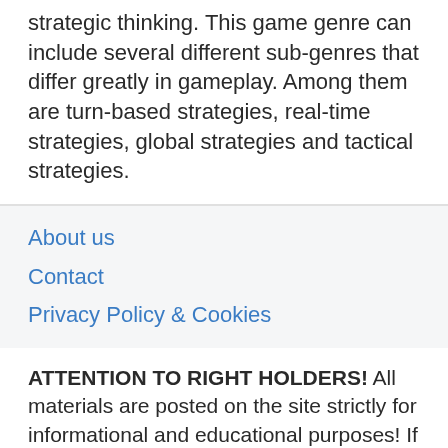strategic thinking. This game genre can include several different sub-genres that differ greatly in gameplay. Among them are turn-based strategies, real-time strategies, global strategies and tactical strategies.
About us
Contact
Privacy Policy & Cookies
ATTENTION TO RIGHT HOLDERS! All materials are posted on the site strictly for informational and educational purposes! If you believe that the posting of any material infringes your copyright, be sure to contact